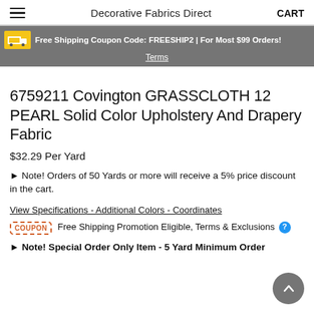Decorative Fabrics Direct  CART
Free Shipping Coupon Code: FREESHIP2 | For Most $99 Orders! Terms
6759211 Covington GRASSCLOTH 12 PEARL Solid Color Upholstery And Drapery Fabric
$32.29 Per Yard
► Note! Orders of 50 Yards or more will receive a 5% price discount in the cart.
View Specifications - Additional Colors - Coordinates
COUPON  Free Shipping Promotion Eligible, Terms & Exclusions ?
► Note! Special Order Only Item - 5 Yard Minimum Order